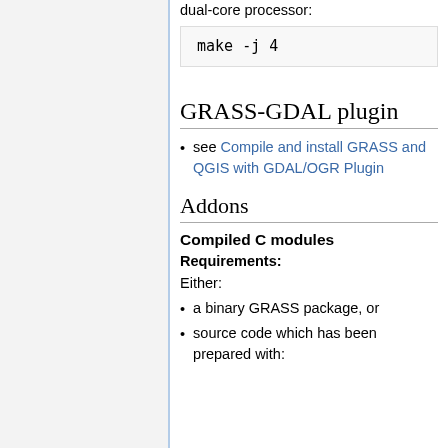dual-core processor:
make -j 4
GRASS-GDAL plugin
see Compile and install GRASS and QGIS with GDAL/OGR Plugin
Addons
Compiled C modules
Requirements:
Either:
a binary GRASS package, or
source code which has been prepared with: